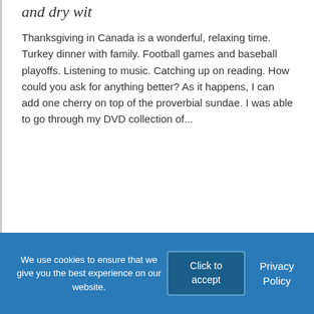and dry wit
Thanksgiving in Canada is a wonderful, relaxing time. Turkey dinner with family. Football games and baseball playoffs. Listening to music. Catching up on reading. How could you ask for anything better? As it happens, I can add one cherry on top of the proverbial sundae. I was able to go through my DVD collection of...
We use cookies to ensure that we give you the best experience on our website.
Click to accept
Privacy Policy